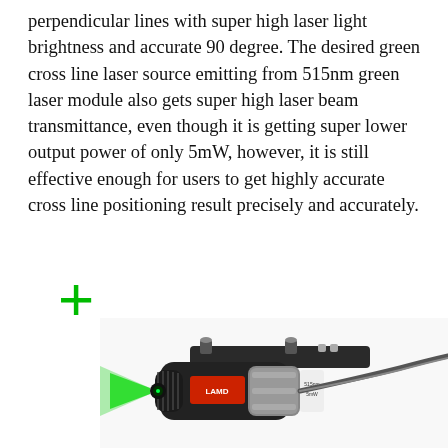perpendicular lines with super high laser light brightness and accurate 90 degree. The desired green cross line laser source emitting from 515nm green laser module also gets super high laser beam transmittance, even though it is getting super lower output power of only 5mW, however, it is still effective enough for users to get highly accurate cross line positioning result precisely and accurately.
[Figure (illustration): A large green plus/cross symbol rendered in green color, representing the cross-line laser beam pattern]
[Figure (photo): Close-up photo of a green cross line laser module device — a black cylindrical module with adjustment screws and a mounting bracket, emitting a bright green laser beam from the front lens]